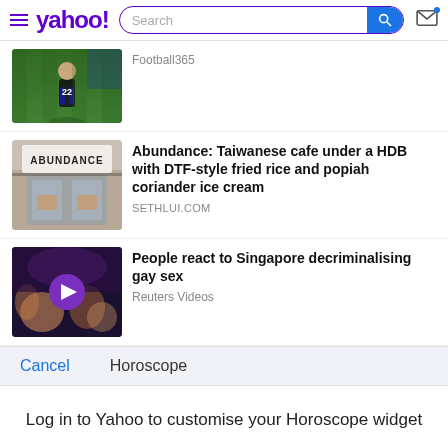yahoo! [Search bar] [Mail icon]
[Figure (screenshot): Thumbnail of football player with number 22 jersey on green pitch]
Football365
[Figure (photo): Abundance cafe storefront showing sign 'ABUNDANCE' with interior visible]
Abundance: Taiwanese cafe under a HDB with DTF-style fried rice and popiah coriander ice cream
SETHLUI.COM
[Figure (photo): Crowd scene at night event with purple play button overlay - Reuters Videos]
People react to Singapore decriminalising gay sex
Reuters Videos
Cancel
Horoscope
Log in to Yahoo to customise your Horoscope widget